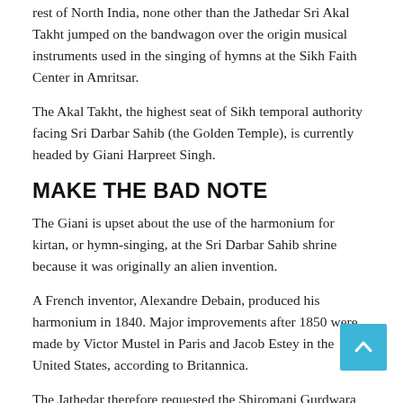rest of North India, none other than the Jathedar Sri Akal Takht jumped on the bandwagon over the origin musical instruments used in the singing of hymns at the Sikh Faith Center in Amritsar.
The Akal Takht, the highest seat of Sikh temporal authority facing Sri Darbar Sahib (the Golden Temple), is currently headed by Giani Harpreet Singh.
MAKE THE BAD NOTE
The Giani is upset about the use of the harmonium for kirtan, or hymn-singing, at the Sri Darbar Sahib shrine because it was originally an alien invention.
A French inventor, Alexandre Debain, produced his harmonium in 1840. Major improvements after 1850 were made by Victor Mustel in Paris and Jacob Estey in the United States, according to Britannica.
The Jathedar therefore requested the Shiromani Gurdwara